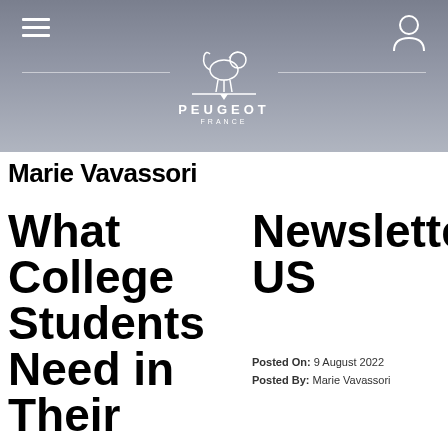Peugeot France
Marie Vavassori
What College Students Need in Their
Newsletter US
Posted On: 9 August 2022
Posted By: Marie Vavassori